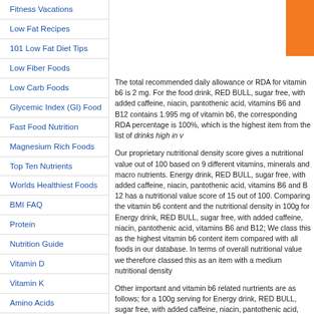Fitness Vacations
Low Fat Recipes
101 Low Fat Diet Tips
Low Fiber Foods
Low Carb Foods
Glycemic Index (GI) Food
Fast Food Nutrition
Magnesium Rich Foods
Top Ten Nutrients
Worlds Healthiest Foods
BMI FAQ
Protein
Nutrition Guide
Vitamin D
Vitamin K
Amino Acids
Body Frame Calculator
Body Mass Index (BMI)
Body Mass Index (BMI) FAQ
The total recommended daily allowance or RDA for vitamin b6 is 2 mg. For the food drink, RED BULL, sugar free, with added caffeine, niacin, pantothenic acid, vitamins B6 and B12 contains 1.995 mg of vitamin b6, the corresponding RDA percentage is 100%, which is the highest item from the list of drinks high in vitamin b6.
Our proprietary nutritional density score gives a nutritional value out of 100 based on 9 different vitamins, minerals and macro nutrients. Energy drink, RED BULL, sugar free, with added caffeine, niacin, pantothenic acid, vitamins B6 and B12 has a nutritional value score of 15 out of 100. Comparing the vitamin b6 content and the nutritional density in 100g for Energy drink, RED BULL, sugar free, with added caffeine, niacin, pantothenic acid, vitamins B6 and B12; We class this as the highest vitamin b6 content item compared with all foods in our database. In terms of overall nutritional value we therefore classed this as an item with a medium nutritional density value.
Other important and vitamin b6 related nutrients are as follows; for a 100g serving for Energy drink, RED BULL, sugar free, with added caffeine, niacin, pantothenic acid, vitamins B6 and B12, which is the top of the list for drinks high in vitamin b6. The amount of Calories is 5 kcal, the amount of Protein is 0.5 g, the amount of Fat is 0 g, the amount of Carbohydrate is 0.7 g (1% RDA). The nutritional content and daily values for a 100g serving for Protein, Fat and Carbohydrate is shown in the RDA percentage chart below, based on a 2000 calorie daily allowance along with the vitamin b6 content for Energy drink, RED BULL, sugar free, with added caffeine, niacin, pantothenic acid, vitamins B6 and B12.
Energy drink, RED BULL, sugar free, with added c
www.die